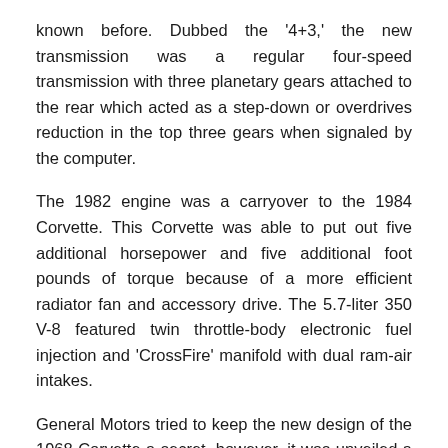known before. Dubbed the '4+3,' the new transmission was a regular four-speed transmission with three planetary gears attached to the rear which acted as a step-down or overdrives reduction in the top three gears when signaled by the computer.
The 1982 engine was a carryover to the 1984 Corvette. This Corvette was able to put out five additional horsepower and five additional foot pounds of torque because of a more efficient radiator fan and accessory drive. The 5.7-liter 350 V-8 featured twin throttle-body electronic fuel injection and 'CrossFire' manifold with dual ram-air intakes.
General Motors tried to keep the new design of the 1968 Corvette a secret, however, it was unveiled a few weeks earlier than the official unveiling. Before the time the1968 Corvette was revealed to the public the toy maker Mattel released a new Hot Wheels line that